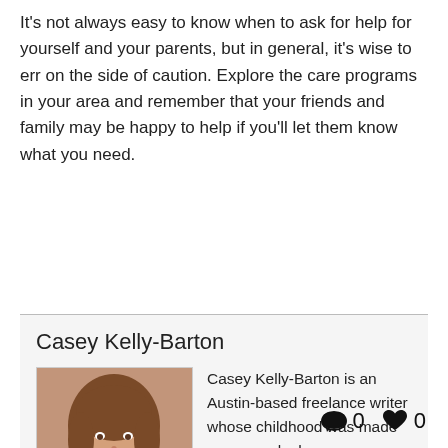It's not always easy to know when to ask for help for yourself and your parents, but in general, it's wise to err on the side of caution. Explore the care programs in your area and remember that your friends and family may be happy to help if you'll let them know what you need.
Casey Kelly-Barton
Casey Kelly-Barton is an Austin-based freelance writer whose childhood was made awesome by her grandmothers, great-grandmother, great-aunts and -uncles, and their friends.
[Figure (photo): Headshot photo of Casey Kelly-Barton, a woman with brown hair, smiling, wearing a teal top]